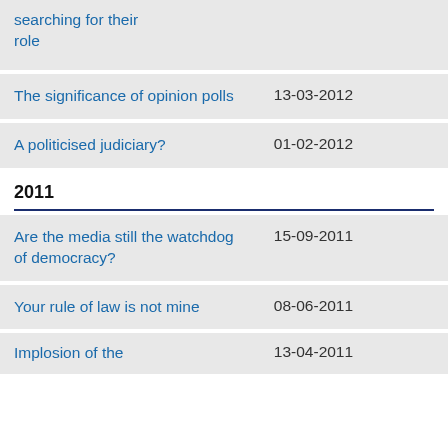| Title | Date |
| --- | --- |
| searching for their role |  |
| The significance of opinion polls | 13-03-2012 |
| A politicised judiciary? | 01-02-2012 |
2011
| Title | Date |
| --- | --- |
| Are the media still the watchdog of democracy? | 15-09-2011 |
| Your rule of law is not mine | 08-06-2011 |
| Implosion of the | 13-04-2011 |